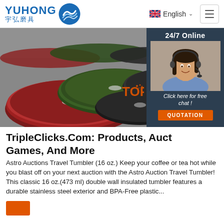[Figure (logo): Yuhong logo with blue wave icon and Chinese characters 宇弘磨具]
English ∨
[Figure (photo): Hero image of grinding/cutting discs (red, green, black) on grey background with side panel showing 24/7 Online chat agent and Click here for free chat! and QUOTATION button]
TripleClicks.Com: Products, Auctions, Games, And More
Astro Auctions Travel Tumbler (16 oz.) Keep your coffee or tea hot while you blast off on your next auction with the Astro Auction Travel Tumbler! This classic 16 oz.(473 ml) double wall insulated tumbler features a durable stainless steel exterior and BPA-Free plastic...